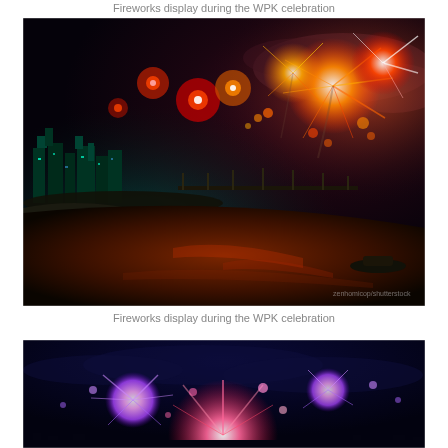Fireworks display during the WPK celebration
[Figure (photo): Nighttime aerial photo of a city skyline with dramatic fireworks display over a river. Buildings are lit up on the left, a bridge spans the river in the middle, and large colorful fireworks (red, orange, white) burst over the right side. The river reflects warm orange light from the fireworks. A watermark is visible in the lower right corner.]
Fireworks display during the WPK celebration
[Figure (photo): Nighttime aerial photo similar to the one above, showing fireworks over a city and river, with a deep blue sky and colorful fireworks bursting. Partial view as the photo is cropped at the bottom of the page.]